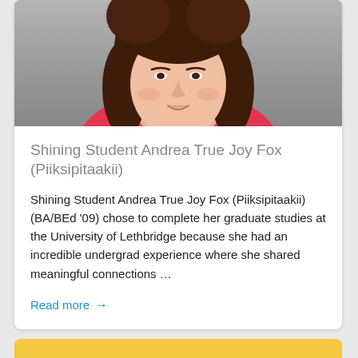[Figure (photo): Portrait photo of a young woman with dark brown hair wearing a bright pink/magenta top, photographed against a gray background. Only the face, neck, and upper chest are visible.]
Shining Student Andrea True Joy Fox (Piiksipitaakii)
Shining Student Andrea True Joy Fox (Piiksipitaakii) (BA/BEd '09) chose to complete her graduate studies at the University of Lethbridge because she had an incredible undergrad experience where she shared meaningful connections …
Read more →